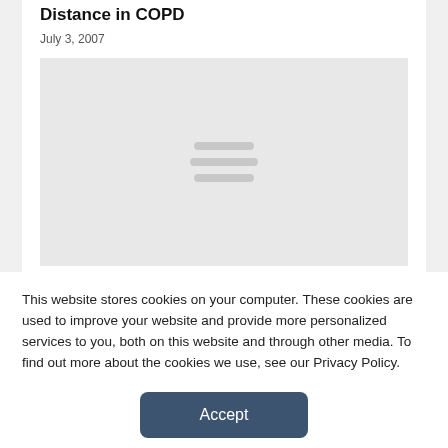Distance in COPD
July 3, 2007
[Figure (other): Placeholder image with loading lines indicator in center on light grey background]
This website stores cookies on your computer. These cookies are used to improve your website and provide more personalized services to you, both on this website and through other media. To find out more about the cookies we use, see our Privacy Policy.